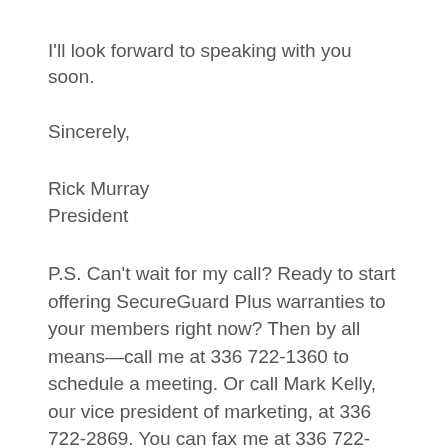I'll look forward to speaking with you soon.
Sincerely,
Rick Murray
President
P.S. Can’t wait for my call? Ready to start offering SecureGuard Plus warranties to your members right now? Then by all means—call me at 336 722-1360 to schedule a meeting. Or call Mark Kelly, our vice president of marketing, at 336 722-2869. You can fax me at 336 722-1350.